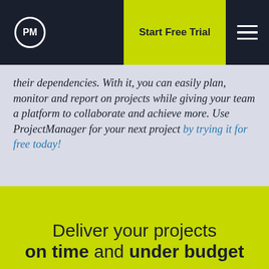PM | Start Free Trial
their dependencies. With it, you can easily plan, monitor and report on projects while giving your team a platform to collaborate and achieve more. Use ProjectManager for your next project by trying it for free today!
Deliver your projects on time and under budget